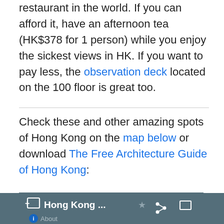restaurant in the world. If you can afford it, have an afternoon tea (HK$378 for 1 person) while you enjoy the sickest views in HK. If you want to pay less, the observation deck located on the 100 floor is great too.
Check these and other amazing spots of Hong Kong on the map below or download The Free Architecture Guide of Hong Kong:
[Figure (map): Google My Maps screenshot showing Hong Kong area map with Shenzhen visible, blue location pins, and a dark header bar reading 'Hong Kong ...' with About, share, and expand icons.]